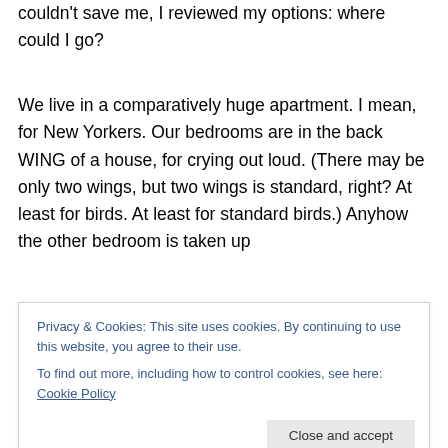couldn't save me, I reviewed my options: where could I go?
We live in a comparatively huge apartment. I mean, for New Yorkers. Our bedrooms are in the back WING of a house, for crying out loud. (There may be only two wings, but two wings is standard, right? At least for birds. At least for standard birds.) Anyhow the other bedroom is taken up
Privacy & Cookies: This site uses cookies. By continuing to use this website, you agree to their use.
To find out more, including how to control cookies, see here: Cookie Policy
and he knows I am there, and he stands up to point out, in